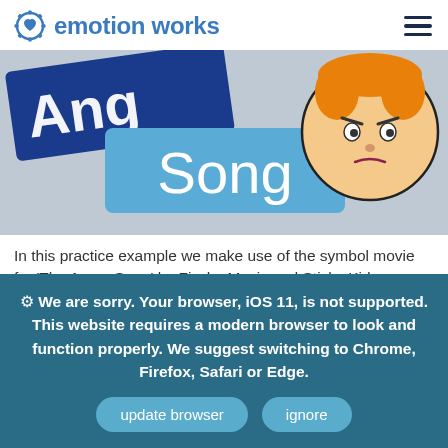emotion works
[Figure (photo): Cropped image showing 'Angry Song' text on blue background tiles with a cartoon child's face showing anger emotion]
In this practice example we make use of the symbol movie for 'The Angry Song' by Fischy Music and Sticky Kids as a literacy stimulus for exploring the emotion of anger with children in the classroom. Prior to use, Placekid...
⚙ We are sorry. Your browser, iOS 11, is not supported. This website requires a modern browser to look and function properly. We suggest switching to Chrome, Firefox, Safari or Edge.
update browser
ignore